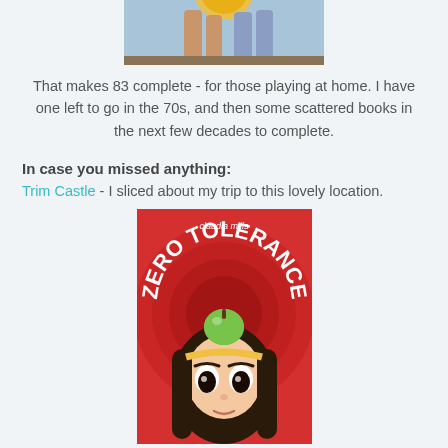[Figure (photo): Top portion of an image showing legs/feet of people and a yellowish circular badge, cropped at top]
That makes 83 complete - for those playing at home. I have one left to go in the 70s, and then some scattered books in the next few decades to complete.
In case you missed anything:
Trim Castle - I sliced about my trip to this lovely location.
[Figure (photo): Book cover of 'Zero Tolerance' by Claudia Mills, featuring a cartoon girl with dark hair and a green apple on her head, on a red background]
Zero Tolerance - I wrote a review for "Marvelous Middle Grade